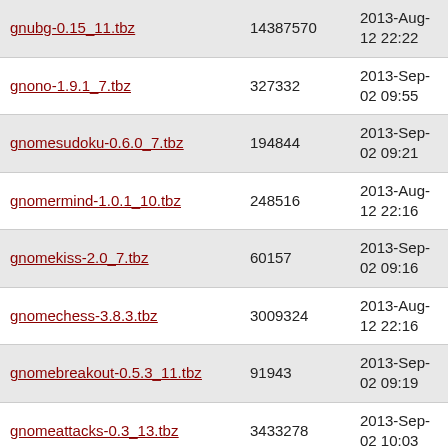| gnubg-0.15_11.tbz | 14387570 | 2013-Aug-12 22:22 |
| gnono-1.9.1_7.tbz | 327332 | 2013-Sep-02 09:55 |
| gnomesudoku-0.6.0_7.tbz | 194844 | 2013-Sep-02 09:21 |
| gnomermind-1.0.1_10.tbz | 248516 | 2013-Aug-12 22:16 |
| gnomekiss-2.0_7.tbz | 60157 | 2013-Sep-02 09:16 |
| gnomechess-3.8.3.tbz | 3009324 | 2013-Aug-12 22:16 |
| gnomebreakout-0.5.3_11.tbz | 91943 | 2013-Sep-02 09:19 |
| gnomeattacks-0.3_13.tbz | 3433278 | 2013-Sep-02 10:03 |
| gnome-games-extra-data-2.30.0_2.tbz | 3498219 | 2013-Sep-02 09:23 |
| gnome-games-2.32.1_4.tbz | 25750396 | 2013-Aug-30 14:08 |
| gno3dtet-1.96.1_11.tbz | 197996 | 2013-Sep-02 10:00 |